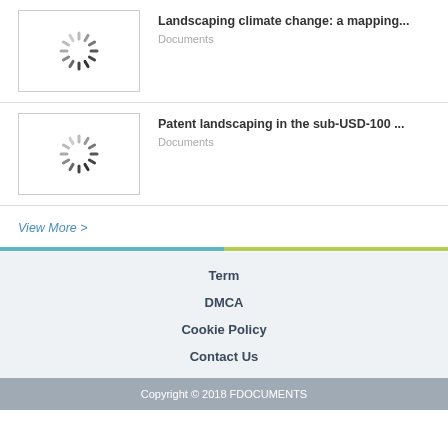[Figure (illustration): Loading spinner thumbnail for first document item]
Landscaping climate change: a mapping...
Documents
[Figure (illustration): Loading spinner thumbnail for second document item]
Patent landscaping in the sub-USD-100 ...
Documents
View More >
Term
DMCA
Cookie Policy
Contact Us
Copyright © 2018 FDOCUMENTS